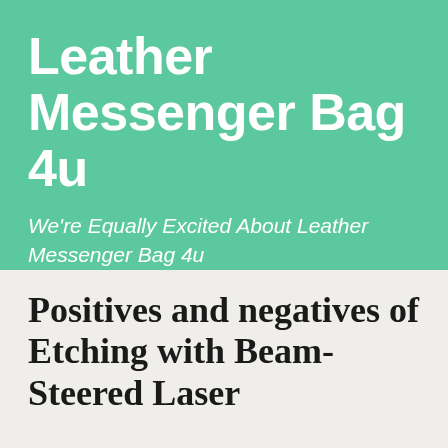Leather Messenger Bag 4u
We're Equally Excited About Leather Messenger Bag 4u
Positives and negatives of Etching with Beam-Steered Laser